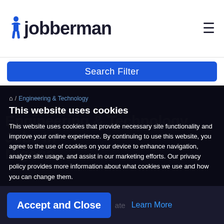[Figure (logo): Jobberman logo with stylized figure icon and bold text]
Search Filter
This website uses cookies
This website uses cookies that provide necessary site functionality and improve your online experience. By continuing to use this website, you agree to the use of cookies on your device to enhance navigation, analyze site usage, and assist in our marketing efforts. Our privacy policy provides more information about what cookies we use and how you can change them.
Accept and Close
Learn More